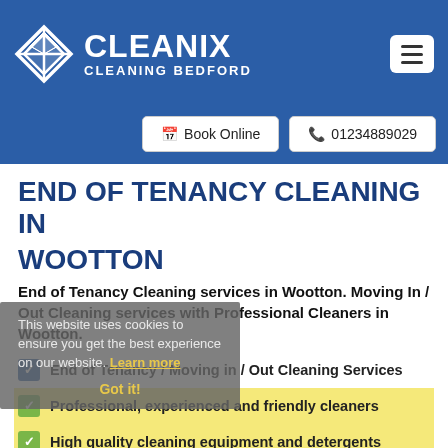[Figure (logo): Cleanix Cleaning Bedford logo with diamond/arrow icon on blue navigation header with hamburger menu button and Book Online / 01234889029 CTA buttons]
END OF TENANCY CLEANING IN WOOTTON
End of Tenancy Cleaning services in Wootton. Moving In / Out Cleaning services with Professional Cleaners in Wootton.
[Figure (screenshot): Cookie consent overlay: 'This website uses cookies to ensure you get the best experience on our website. Learn more' with 'Got it!' button]
End of Tenancy / Moving in / Out Cleaning Services
Professional, experienced and friendly cleaners
High quality cleaning equipment and detergents
Hourly-based End of Tenancy Cleaning Service
Get a Quote, Book and Pay Online